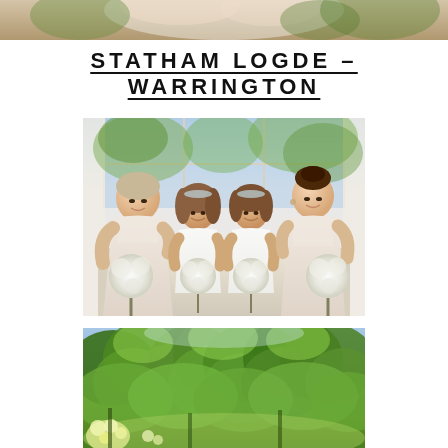[Figure (photo): Partial view of a wedding photo at the top of the page, cropped]
STATHAM LOGDE – WARRINGTON
[Figure (photo): Four bridesmaids in white/cream dresses holding round gypsophila bouquets, seated and standing in front of large windows]
[Figure (photo): Garden scene with lush green trees and foliage, outdoor summer setting]